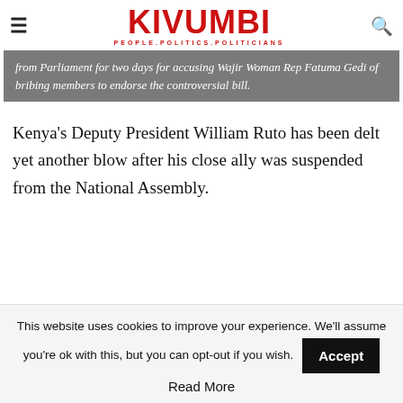KIVUMBI — PEOPLE.POLITICS.POLITICIANS
from Parliament for two days for accusing Wajir Woman Rep Fatuma Gedi of bribing members to endorse the controversial bill.
Kenya's Deputy President William Ruto has been delt yet another blow after his close ally was suspended from the National Assembly.
This website uses cookies to improve your experience. We'll assume you're ok with this, but you can opt-out if you wish.
Read More